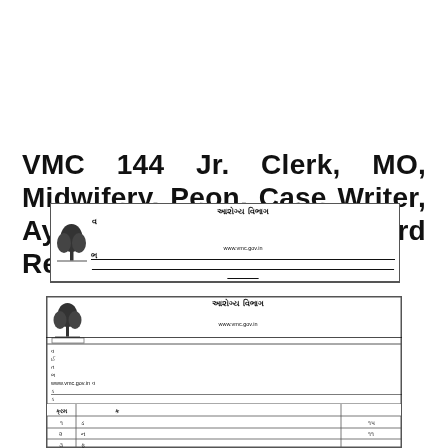VMC 144 Jr. Clerk, MO, Midwifery, Peon, Case Writer, Ayaben & Security Guard Recruitment : Apply Now
[Figure (table-as-image): Government notice from Arogya Vibhag, Vadodara Mahanagar Palika with a recruitment table listing job positions and vacancies including Deputy Medical Officer (15), Nurse Vadari Hamaj (11), Jumila Clark (1), Case Writer (11), Peon (3), and a partially visible 6th row.]